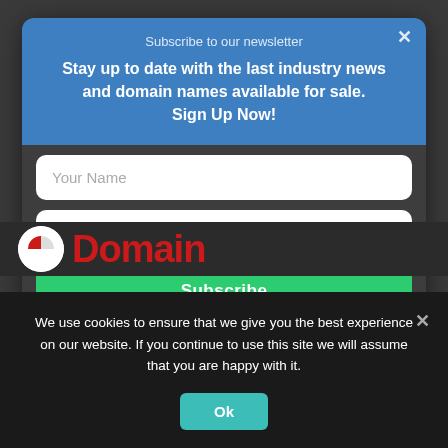Subscribe to our newsletter
Stay up to date with the last industry news and domain names available for sale.
Sign Up Now!
Your Name
Your Email
Subscribe
⚡ by Convertful
[Figure (logo): Partial website logo with red text partially visible]
We use cookies to ensure that we give you the best experience on our website. If you continue to use this site we will assume that you are happy with it.
Ok